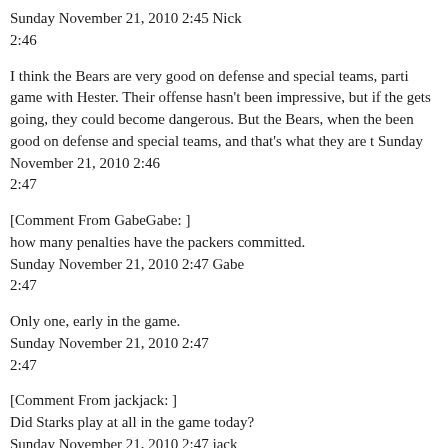Sunday November 21, 2010 2:45 Nick
2:46
I think the Bears are very good on defense and special teams, parti game with Hester. Their offense hasn't been impressive, but if the gets going, they could become dangerous. But the Bears, when the been good on defense and special teams, and that's what they are t Sunday November 21, 2010 2:46
2:47
[Comment From GabeGabe: ]
how many penalties have the packers committed.
Sunday November 21, 2010 2:47 Gabe
2:47
Only one, early in the game.
Sunday November 21, 2010 2:47
2:47
[Comment From jackjack: ]
Did Starks play at all in the game today?
Sunday November 21, 2010 2:47 jack
2:47
No, he was inactive.
Sunday November 21, 2010 2:47
2:47